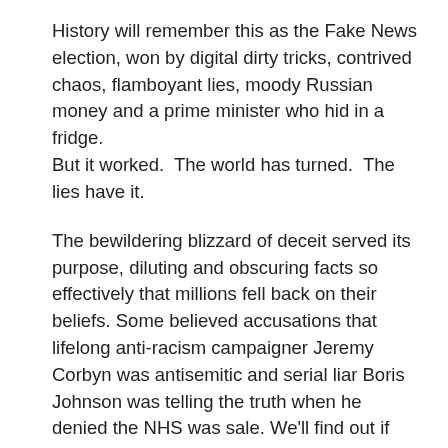History will remember this as the Fake News election, won by digital dirty tricks, contrived chaos, flamboyant lies, moody Russian money and a prime minister who hid in a fridge. But it worked. The world has turned. The lies have it.
The bewildering blizzard of deceit served its purpose, diluting and obscuring facts so effectively that millions fell back on their beliefs. Some believed accusations that lifelong anti-racism campaigner Jeremy Corbyn was antisemitic and serial liar Boris Johnson was telling the truth when he denied the NHS was sale. We'll find out if they were right over the next five years, possibly